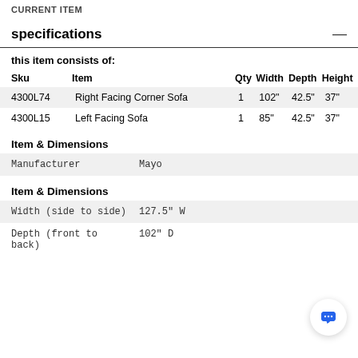CURRENT ITEM
specifications
this item consists of:
| Sku | Item | Qty | Width | Depth | Height |
| --- | --- | --- | --- | --- | --- |
| 4300L74 | Right Facing Corner Sofa | 1 | 102" | 42.5" | 37" |
| 4300L15 | Left Facing Sofa | 1 | 85" | 42.5" | 37" |
Item & Dimensions
|  |  |
| --- | --- |
| Manufacturer | Mayo |
Item & Dimensions
|  |  |
| --- | --- |
| Width (side to side) | 127.5" W |
| Depth (front to back) | 102" D |